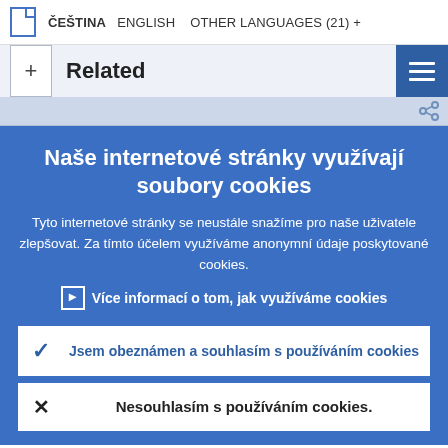ČEŠTINA  ENGLISH  OTHER LANGUAGES (21) +
Related
Naše internetové stránky využívají soubory cookies
Tyto internetové stránky se neustále snažíme pro naše uživatele zlepšovat. Za tímto účelem využíváme anonymní údaje poskytované cookies.
Více informací o tom, jak využíváme cookies
Jsem obeznámen a souhlasím s používáním cookies
Nesouhlasím s používáním cookies.